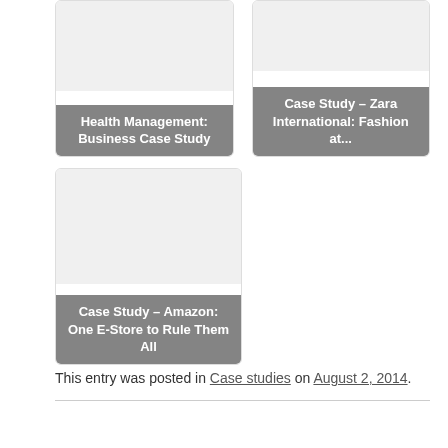[Figure (illustration): Card thumbnail for Health Management: Business Case Study]
Health Management: Business Case Study
[Figure (illustration): Card thumbnail for Case Study – Zara International: Fashion at...]
Case Study – Zara International: Fashion at...
[Figure (illustration): Card thumbnail for Case Study – Amazon: One E-Store to Rule Them All]
Case Study – Amazon: One E-Store to Rule Them All
This entry was posted in Case studies on August 2, 2014.